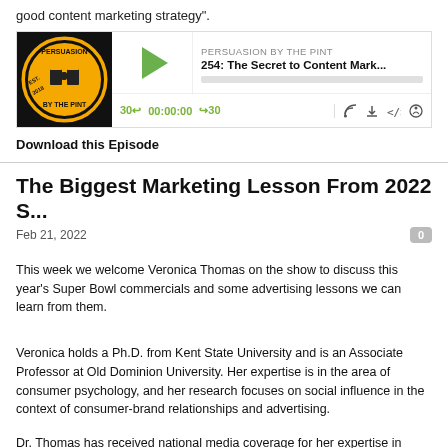good content marketing strategy".
[Figure (screenshot): Podcast player for 'Persuasion by the Pint' episode 254: The Secret to Content Mark... with play button, progress bar, time controls (30 back, 00:00:00, forward 30), and icons for RSS, download, embed, share.]
Download this Episode
The Biggest Marketing Lesson From 2022 S...
Feb 21, 2022
This week we welcome Veronica Thomas on the show to discuss this year's Super Bowl commercials and some advertising lessons we can learn from them.
Veronica holds a Ph.D. from Kent State University and is an Associate Professor at Old Dominion University. Her expertise is in the area of consumer psychology, and her research focuses on social influence in the context of consumer-brand relationships and advertising.
Dr. Thomas has received national media coverage for her expertise in outlets such as MarketWatch, Forbes, and Cosmopolitan.